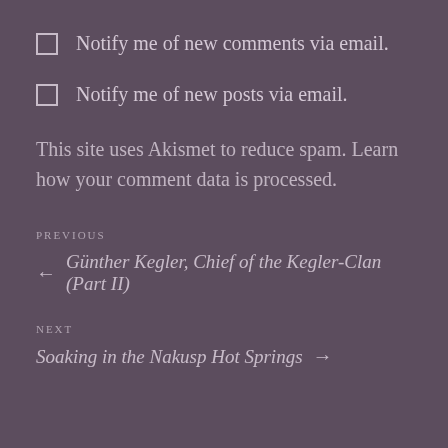Notify me of new comments via email.
Notify me of new posts via email.
This site uses Akismet to reduce spam. Learn how your comment data is processed.
PREVIOUS
← Günther Kegler, Chief of the Kegler-Clan (Part II)
NEXT
Soaking in the Nakusp Hot Springs →